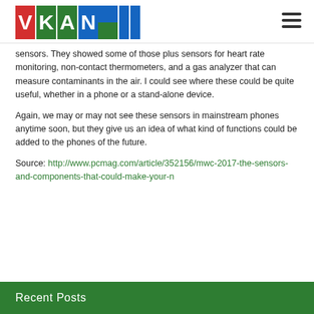[Figure (logo): VKANSEE logo with colorful letter tiles in red, green, and blue]
sensors. They showed some of those plus sensors for heart rate monitoring, non-contact thermometers, and a gas analyzer that can measure contaminants in the air. I could see where these could be quite useful, whether in a phone or a stand-alone device.
Again, we may or may not see these sensors in mainstream phones anytime soon, but they give us an idea of what kind of functions could be added to the phones of the future.
Source: http://www.pcmag.com/article/352156/mwc-2017-the-sensors-and-components-that-could-make-your-n
Recent Posts